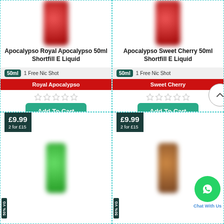[Figure (photo): Product card: Apocalypso Royal Apocalypso 50ml Shortfill E Liquid, blurred red bottle image, 50ml badge, 1 Free Nic Shot, Royal Apocalypso flavor bar, star rating, Add To Cart button]
[Figure (photo): Product card: Apocalypso Sweet Cherry 50ml Shortfill E Liquid, blurred red bottle image, 50ml badge, 1 Free Nic Shot, Sweet Cherry flavor bar, star rating, Add To Cart button, scroll-up circle button]
[Figure (photo): Product card bottom left: price £9.99 / 2 for £15, blurred green bottle, 50% VG label]
[Figure (photo): Product card bottom right: price £9.99 / 2 for £15, blurred amber bottle, 50% VG label, WhatsApp Chat With Us widget]